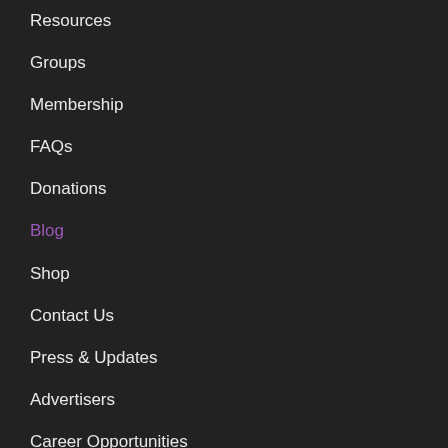Resources
Groups
Membership
FAQs
Donations
Blog
Shop
Contact Us
Press & Updates
Advertisers
Career Opportunities
Subscribe to INBOX
INBOX is a biweekly email wrap-up of the most